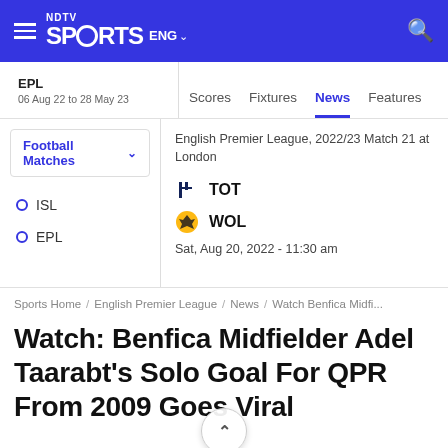NDTV Sports ENG
EPL
06 Aug 22 to 28 May 23
Scores  Fixtures  News  Features
Football Matches
ISL
EPL
English Premier League, 2022/23 Match 21 at London
TOT
WOL
Sat, Aug 20, 2022 - 11:30 am
Sports Home / English Premier League / News / Watch Benfica Midfi...
Watch: Benfica Midfielder Adel Taarabt's Solo Goal For QPR From 2009 Goes Viral